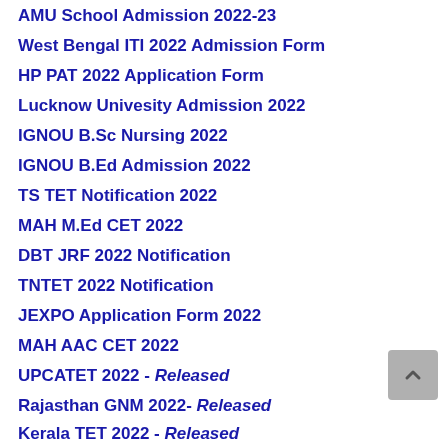AMU School Admission 2022-23
West Bengal ITI 2022 Admission Form
HP PAT 2022 Application Form
Lucknow Univesity Admission 2022
IGNOU B.Sc Nursing 2022
IGNOU B.Ed Admission 2022
TS TET Notification 2022
MAH M.Ed CET 2022
DBT JRF 2022 Notification
TNTET 2022 Notification
JEXPO Application Form 2022
MAH AAC CET 2022
UPCATET 2022 - Released
Rajasthan GNM 2022- Released
Kerala TET 2022 - Released